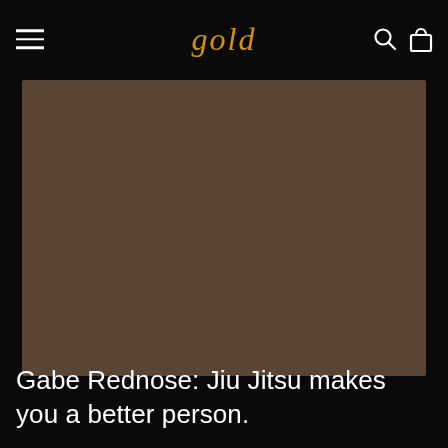gold
[Figure (photo): Large brownish-gray hero image placeholder for article]
Gabe Rednose: Jiu Jitsu makes you a better person.